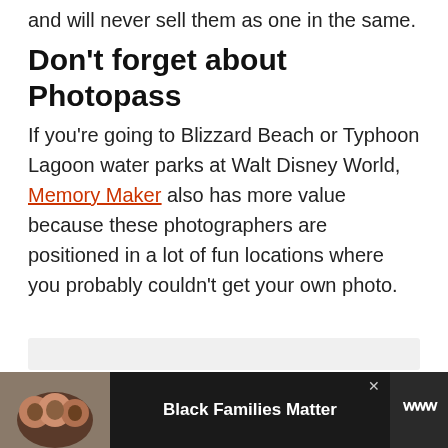and will never sell them as one in the same.
Don't forget about Photopass
If you're going to Blizzard Beach or Typhoon Lagoon water parks at Walt Disney World, Memory Maker also has more value because these photographers are positioned in a lot of fun locations where you probably couldn't get your own photo.
[Figure (infographic): Advertisement banner at bottom of page showing a family photo with text 'Black Families Matter' on dark background with a logo on the right side]